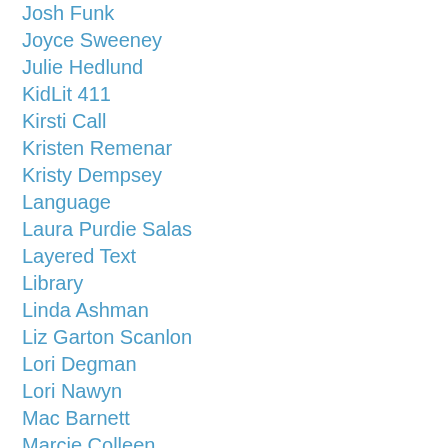Josh Funk
Joyce Sweeney
Julie Hedlund
KidLit 411
Kirsti Call
Kristen Remenar
Kristy Dempsey
Language
Laura Purdie Salas
Layered Text
Library
Linda Ashman
Liz Garton Scanlon
Lori Degman
Lori Nawyn
Mac Barnett
Marcie Colleen
Marcie Flinchum Atkins
Marcie Flinchum-Atkins
Maria Gianferrari
Matthew Winner